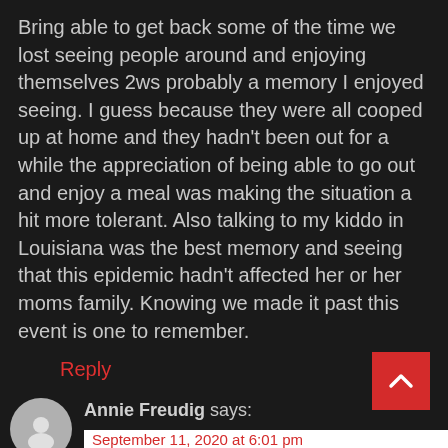Bring able to get back some of the time we lost seeing people around and enjoying themselves 2ws probably a memory I enjoyed seeing. I guess because they were all cooped up at home and they hadn't been out for a while the appreciation of being able to go out and enjoy a meal was making the situation a hit more tolerant. Also talking to my kiddo in Louisiana was the best memory and seeing that this epidemic hadn't affected her or her moms family. Knowing we made it past this event is one to remember.
Reply
Annie Freudig says:
September 11, 2020 at 6:01 pm